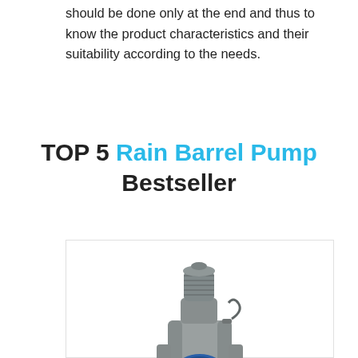should be done only at the end and thus to know the product characteristics and their suitability according to the needs.
TOP 5 Rain Barrel Pump Bestseller
[Figure (photo): Photo of a Superior Pump 91250 Utility Pump, 1/4 HP — a grey submersible pump with blue oval brand logo, shown inside a white bordered product card.]
Superior Pump 91250 Utility Pump, 1/4 HP